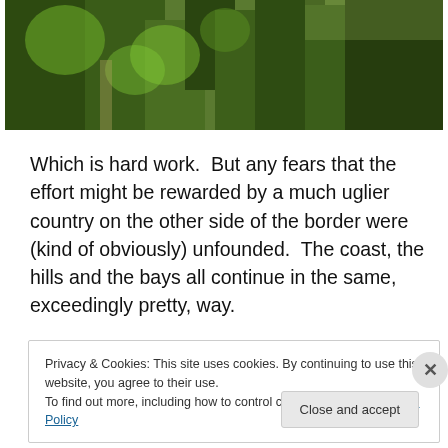[Figure (photo): A photo strip showing dense green trees and vegetation, a hillside landscape.]
Which is hard work.  But any fears that the effort might be rewarded by a much uglier country on the other side of the border were (kind of obviously) unfounded.  The coast, the hills and the bays all continue in the same, exceedingly pretty, way.
Privacy & Cookies: This site uses cookies. By continuing to use this website, you agree to their use.
To find out more, including how to control cookies, see here: Cookie Policy
Close and accept